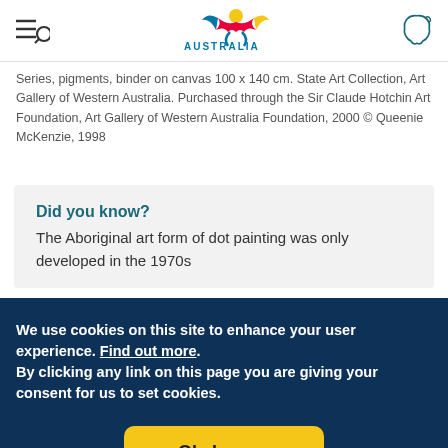Australia Tourism - navigation header with hamburger menu, Australia logo with bird, and map icon
Series, pigments, binder on canvas 100 x 140 cm. State Art Collection, Art Gallery of Western Australia. Purchased through the Sir Claude Hotchin Art Foundation, Art Gallery of Western Australia Foundation, 2000 © Queenie McKenzie, 1998
Did you know?
The Aboriginal art form of dot painting was only developed in the 1970s
We use cookies on this site to enhance your user experience. Find out more. By clicking any link on this page you are giving your consent for us to set cookies.
Ok, I agree